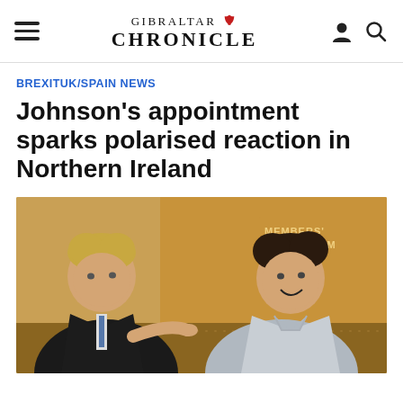Gibraltar Chronicle
BREXIT UK/SPAIN NEWS
Johnson's appointment sparks polarised reaction in Northern Ireland
[Figure (photo): Photo of Boris Johnson and Arlene Foster in conversation in front of ornate gold interior panelling. A sign reading MEMBERS' DINING ROOM is visible in the background.]